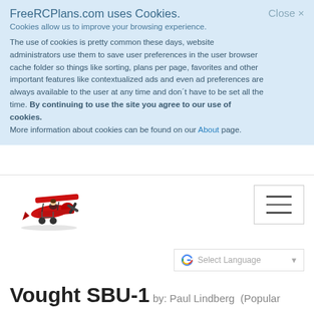FreeRCPlans.com uses Cookies.
Cookies allow us to improve your browsing experience.
The use of cookies is pretty common these days, website administrators use them to save user preferences in the user browser cache folder so things like sorting, plans per page, favorites and other important features like contextualized ads and even ad preferences are always available to the user at any time and don´t have to be set all the time. By continuing to use the site you agree to our use of cookies. More information about cookies can be found on our About page.
Close ×
[Figure (logo): Red biplane RC model airplane logo for FreeRCPlans.com]
[Figure (other): Hamburger menu button with three horizontal lines]
[Figure (other): Google Translate Select Language dropdown widget]
Vought SBU-1 by: Paul Lindberg (Popular